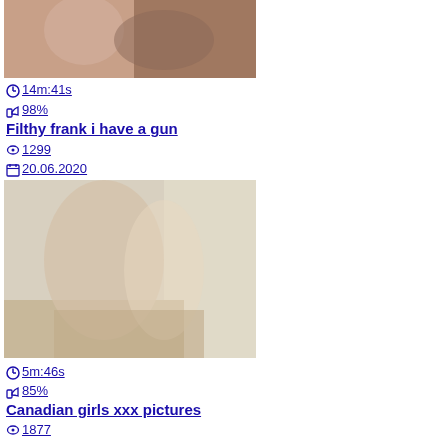[Figure (photo): Thumbnail image for first video entry]
14m:41s
98%
Filthy frank i have a gun
1299
20.06.2020
[Figure (photo): Thumbnail image for second video entry showing couple on sofa]
5m:46s
85%
Canadian girls xxx pictures
1877
13.12.2020